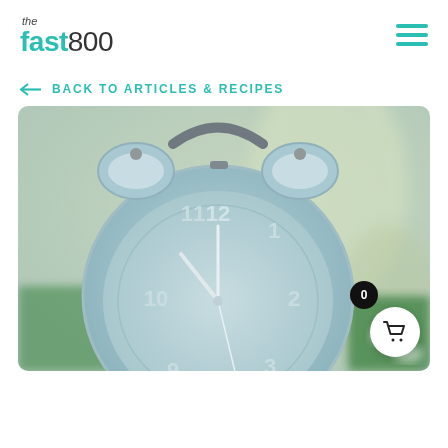the fast800
BACK TO ARTICLES & RECIPES
[Figure (photo): Close-up photograph of a vintage light blue alarm clock showing the time approximately 11:58, with blurred green background suggesting vegetables or plants.]